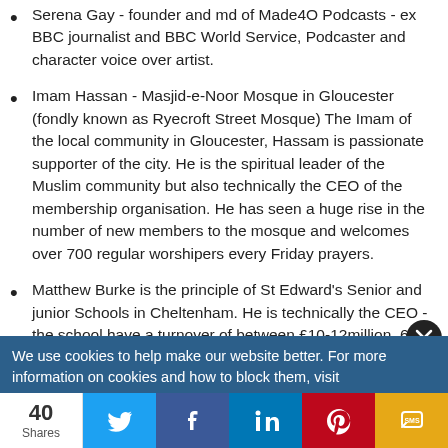Serena Gay - founder and md of Made4O Podcasts - ex BBC journalist and BBC World Service, Podcaster and character voice over artist.
Imam Hassan - Masjid-e-Noor Mosque in Gloucester (fondly known as Ryecroft Street Mosque) The Imam of the local community in Gloucester, Hassam is passionate supporter of the city. He is the spiritual leader of the Muslim community but also technically the CEO of the membership organisation. He has seen a huge rise in the number of new members to the mosque and welcomes over 700 regular worshipers every Friday prayers.
Matthew Burke is the principle of St Edward's Senior and junior Schools in Cheltenham. He is technically the CEO - the school have a turnover of between £10-12million, 650 pupils and over 150 staff.
We use cookies to help make our website better. For more information on cookies and how to block them, visit
40 Shares